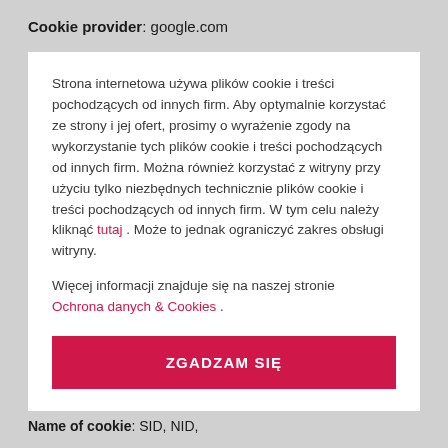Cookie provider: google.com
Strona internetowa używa plików cookie i treści pochodzących od innych firm. Aby optymalnie korzystać ze strony i jej ofert, prosimy o wyrażenie zgody na wykorzystanie tych plików cookie i treści pochodzących od innych firm. Można również korzystać z witryny przy użyciu tylko niezbędnych technicznie plików cookie i treści pochodzących od innych firm. W tym celu należy kliknąć tutaj . Może to jednak ograniczyć zakres obsługi witryny.
Więcej informacji znajduje się na naszej stronie Ochrona danych & Cookies .
ZGADZAM SIĘ
Name of cookie: SID, NID,